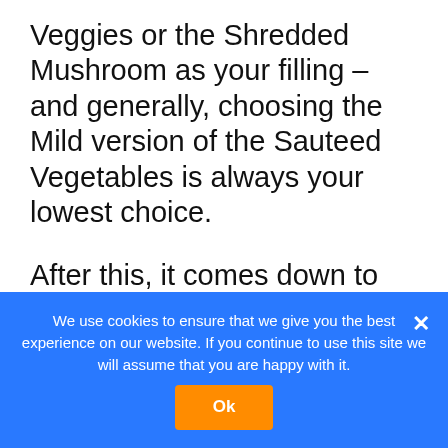Veggies or the Shredded Mushroom as your filling – and generally, choosing the Mild version of the Sauteed Vegetables is always your lowest choice.
After this, it comes down to the type of meal you choose.
So, in this case, if you want to try the lowest calorie option then you need
Vegetable with Guacamole Salad which has just 310 calories.
We use cookies to ensure that we give you the best experience on our website. If you continue to use this site we will assume that you are happy with it.
Ok